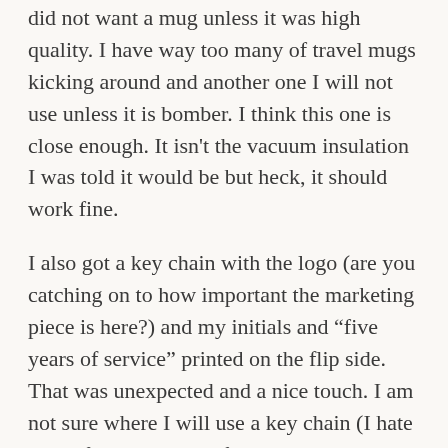did not want a mug unless it was high quality.  I have way too many of travel mugs kicking around and another one I will not use unless it is bomber.  I think this one is close enough.  It isn't the vacuum insulation I was told it would be but heck, it should work fine.
I also got a key chain with the logo (are you catching on to how important the marketing piece is here?) and my initials and “five years of service” printed on the flip side.  That was unexpected and a nice touch.  I am not sure where I will use a key chain (I hate a lot of crap dangling from my key ring; in fact I have all my keys on a mini carabiner so I can take one off at a time easily) but it was nice touch.
Finally, I got a bonus vacation day.  That will get